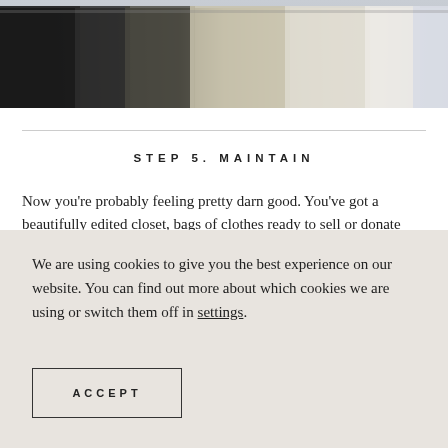[Figure (photo): Clothing hanging on a rack — dark black, olive/gray, cream/beige, and light garments visible from left to right against a light background.]
STEP 5. MAINTAIN
Now you're probably feeling pretty darn good. You've got a beautifully edited closet, bags of clothes ready to sell or donate and maybe you've even got a better sense of your personal style. Awesome! Now not to be a buzzkill but if you aren't careful, you'll be right back where you started, so here are a few easy
We are using cookies to give you the best experience on our website. You can find out more about which cookies we are using or switch them off in settings.
ACCEPT